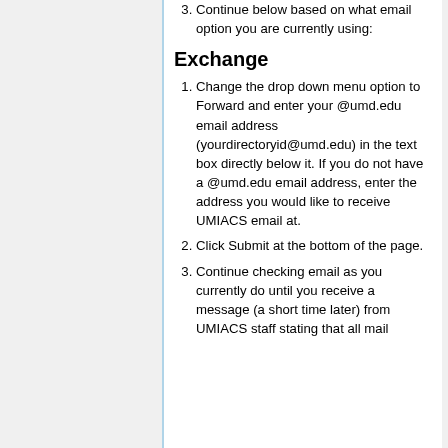3. Continue below based on what email option you are currently using:
Exchange
1. Change the drop down menu option to Forward and enter your @umd.edu email address (yourdirectoryid@umd.edu) in the text box directly below it. If you do not have a @umd.edu email address, enter the address you would like to receive UMIACS email at.
2. Click Submit at the bottom of the page.
3. Continue checking email as you currently do until you receive a message (a short time later) from UMIACS staff stating that all mail